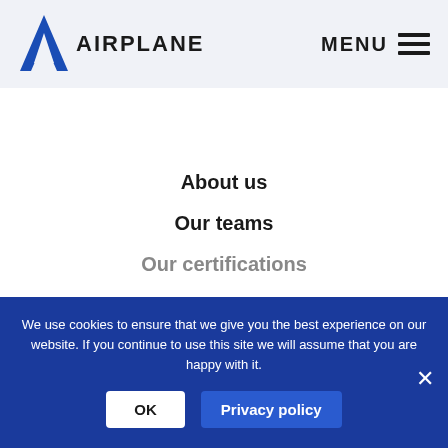AIRPLANE
About us
Our teams
Our certifications
We use cookies to ensure that we give you the best experience on our website. If you continue to use this site we will assume that you are happy with it.
OK
Privacy policy